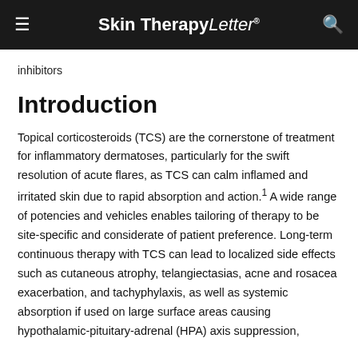Skin Therapy Letter
inhibitors
Introduction
Topical corticosteroids (TCS) are the cornerstone of treatment for inflammatory dermatoses, particularly for the swift resolution of acute flares, as TCS can calm inflamed and irritated skin due to rapid absorption and action.1 A wide range of potencies and vehicles enables tailoring of therapy to be site-specific and considerate of patient preference. Long-term continuous therapy with TCS can lead to localized side effects such as cutaneous atrophy, telangiectasias, acne and rosacea exacerbation, and tachyphylaxis, as well as systemic absorption if used on large surface areas causing hypothalamic-pituitary-adrenal (HPA) axis suppression,